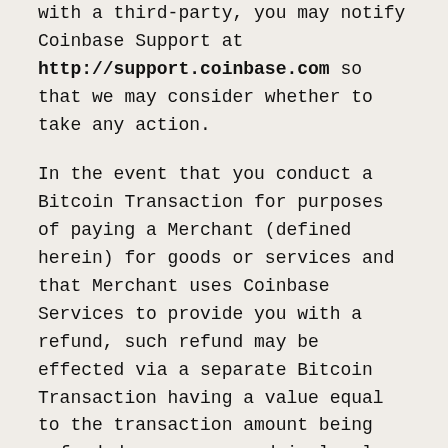with a third-party, you may notify Coinbase Support at http://support.coinbase.com so that we may consider whether to take any action.
In the event that you conduct a Bitcoin Transaction for purposes of paying a Merchant (defined herein) for goods or services and that Merchant uses Coinbase Services to provide you with a refund, such refund may be effected via a separate Bitcoin Transaction having a value equal to the transaction amount being refunded, as expressed in local currency (e.g., U.S. dollars), based on the then current Conversion Rate. As a result, you may receive less bitcoin than you initially used to pay the Merchant. For information concerning the Conversion Rate, see Section 3 herein.
Coinbase processes Bitcoin Transactions according to the instructions received from its users and we do not guarantee the identity of any user, receiver, requestee